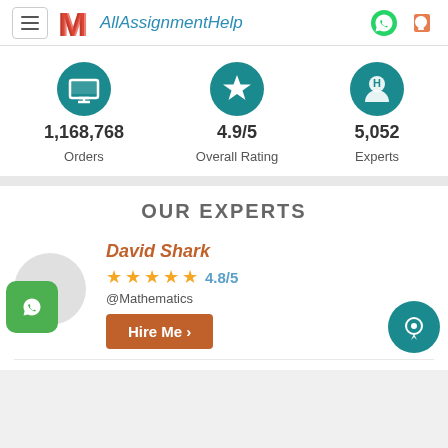AllAssignmentHelp
1,168,768 Orders
4.9/5 Overall Rating
5,052 Experts
OUR EXPERTS
David Shark
4.8/5 @Mathematics Hire Me